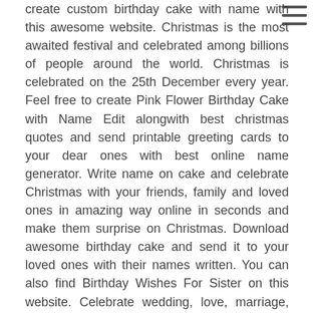create custom birthday cake with name with this awesome website. Christmas is the most awaited festival and celebrated among billions of people around the world. Christmas is celebrated on the 25th December every year. Feel free to create Pink Flower Birthday Cake with Name Edit alongwith best christmas quotes and send printable greeting cards to your dear ones with best online name generator. Write name on cake and celebrate Christmas with your friends, family and loved ones in amazing way online in seconds and make them surprise on Christmas. Download awesome birthday cake and send it to your loved ones with their names written. You can also find Birthday Wishes For Sister on this website. Celebrate wedding, love, marriage, Anniversaries of loved one with this simple cake! Write your names on unique Rapunzel Name Birthday Cake images! in quick time Now you can celebrate birthdays of your loved ones by writing name on this beautiful butterfly birthday cake! You can also wish birthday to your strong boys and kids with this kungfu style